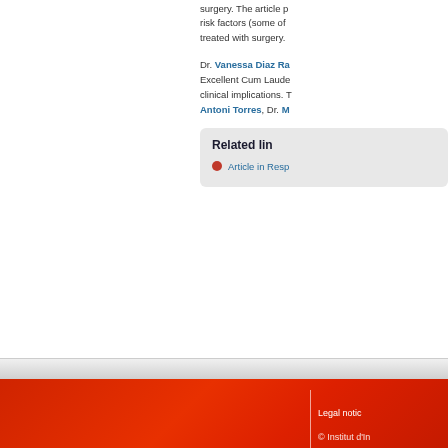surgery. The article p risk factors (some of treated with surgery.
Dr. Vanessa Diaz Ra Excellent Cum Laude clinical implications. Antoni Torres, Dr. M
Related lin
Article in Resp
Legal notic © Institut d'In